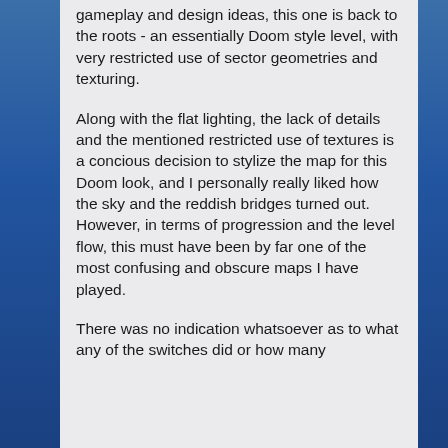gameplay and design ideas, this one is back to the roots - an essentially Doom style level, with very restricted use of sector geometries and texturing.
Along with the flat lighting, the lack of details and the mentioned restricted use of textures is a concious decision to stylize the map for this Doom look, and I personally really liked how the sky and the reddish bridges turned out. However, in terms of progression and the level flow, this must have been by far one of the most confusing and obscure maps I have played.
There was no indication whatsoever as to what any of the switches did or how many